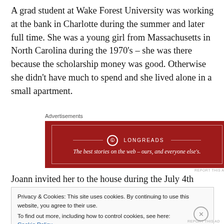A grad student at Wake Forest University was working at the bank in Charlotte during the summer and later full time. She was a young girl from Massachusetts in North Carolina during the 1970's – she was there because the scholarship money was good. Otherwise she didn't have much to spend and she lived alone in a small apartment.
[Figure (other): Longreads advertisement banner: red background with white border, Longreads logo and tagline 'The best stories on the web – ours, and everyone else's.']
Joann invited her to the house during the July 4th
Privacy & Cookies: This site uses cookies. By continuing to use this website, you agree to their use. To find out more, including how to control cookies, see here: Cookie Policy